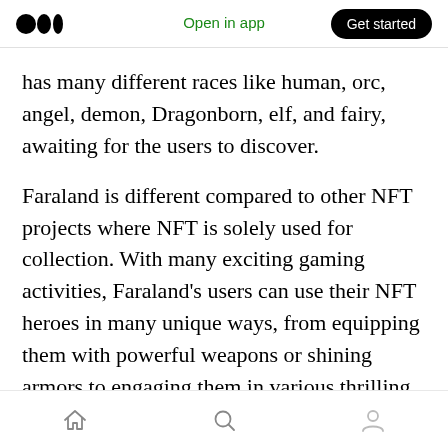Medium | Open in app | Get started
has many different races like human, orc, angel, demon, Dragonborn, elf, and fairy, awaiting for the users to discover.
Faraland is different compared to other NFT projects where NFT is solely used for collection. With many exciting gaming activities, Faraland’s users can use their NFT heroes in many unique ways, from equipping them with powerful weapons or shining armors to engaging them in various thrilling battles. It’s a solid and exciting game with a fundamental and engaging
Home | Search | Profile